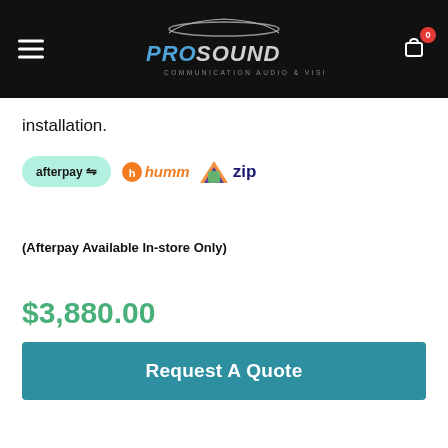[Figure (logo): ProSound Communication Audio & Vision logo with car silhouette on black background header bar]
installation.
[Figure (logo): Payment method logos: afterpay, humm, and zip]
(Afterpay Available In-store Only)
$3,880.00
Request A Quote